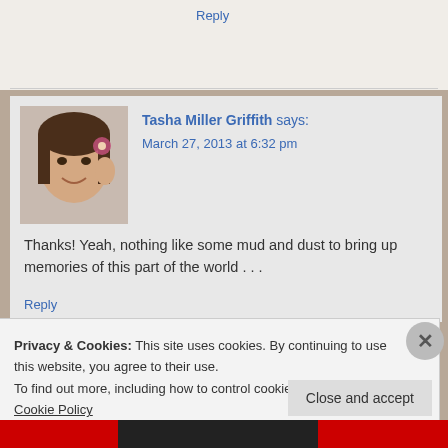Reply
Tasha Miller Griffith says:
March 27, 2013 at 6:32 pm
Thanks! Yeah, nothing like some mud and dust to bring up memories of this part of the world . . .
Reply
Privacy & Cookies: This site uses cookies. By continuing to use this website, you agree to their use. To find out more, including how to control cookies, see here: Cookie Policy
Close and accept